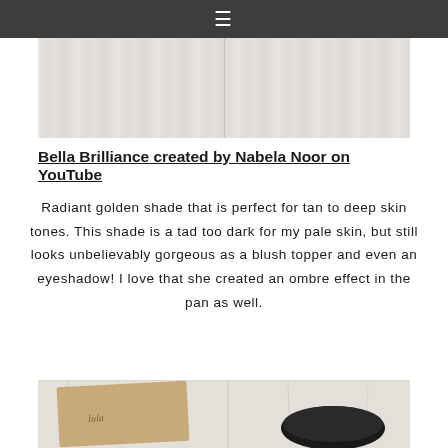≡ (navigation hamburger menu)
[Figure (photo): Top portion of a photo showing a white-washed wood plank surface, cropped at top of page]
Bella Brilliance created by Nabela Noor on YouTube
Radiant golden shade that is perfect for tan to deep skin tones. This shade is a tad too dark for my pale skin, but still looks unbelievably gorgeous as a blush topper and even an eyeshadow! I love that she created an ombre effect in the pan as well.
[Figure (photo): Bottom portion of a photo showing a white-washed wood plank surface with what appears to be a makeup product packaging with cursive text and a round black container]